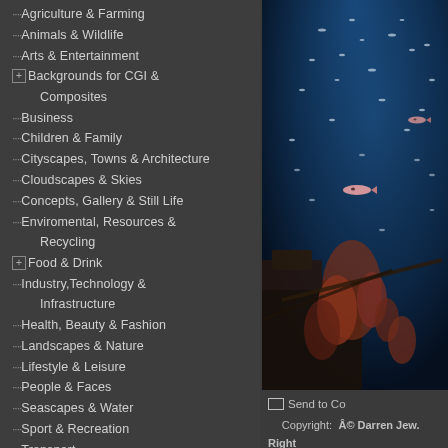Agriculture & Farming
Animals & Wildlife
Arts & Entertainment
Backgrounds for CGI & Composites
Business
Children & Family
Cityscapes, Towns & Architecture
Cloudscapes & Skies
Concepts, Gallery & Still Life
Enviromental, Resources & Recycling
Food & Drink
Industry,Technology & Infrastructure
Health, Beauty & Fashion
Landscapes & Nature
Lifestyle & Leisure
People & Faces
Seascapes & Water
Sport & Recreation
Transport
Travel
Underwater
[Figure (photo): Underwater photograph showing a shipwreck (plane wreck) surrounded by fish and coral in deep blue water. Fish are visible swimming throughout the image. Coral and wreckage visible at bottom.]
Send to Co
Copyright: © Darren Jew. Right redbrickstock.com RM
Caption: Plane wreck